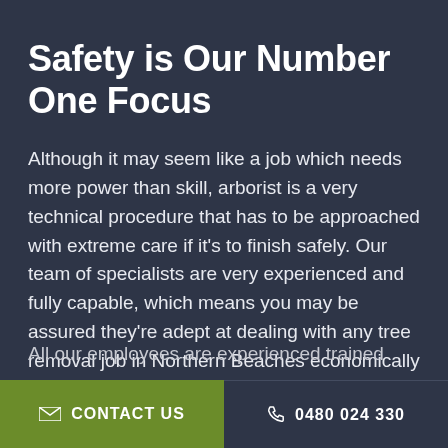Safety is Our Number One Focus
Although it may seem like a job which needs more power than skill, arborist is a very technical procedure that has to be approached with extreme care if it’s to finish safely. Our team of specialists are very experienced and fully capable, which means you may be assured they’re adept at dealing with any tree removal job in Northern Beaches economically and safely.
All our employees are experienced trained and
✉ CONTACT US   📞 0480 024 330